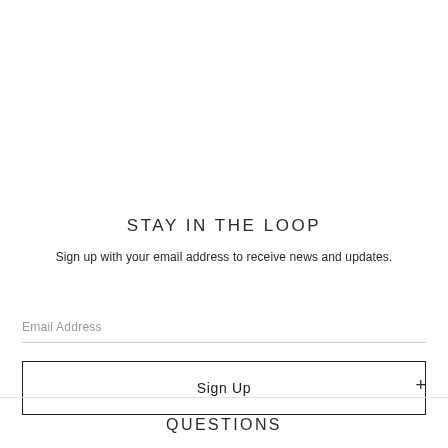STAY IN THE LOOP
Sign up with your email address to receive news and updates.
Email Address
Sign Up
+
QUESTIONS